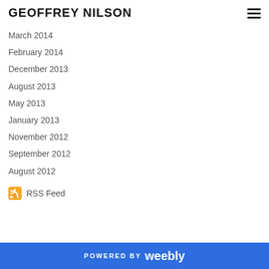GEOFFREY NILSON
March 2014
February 2014
December 2013
August 2013
May 2013
January 2013
November 2012
September 2012
August 2012
RSS Feed
POWERED BY weebly